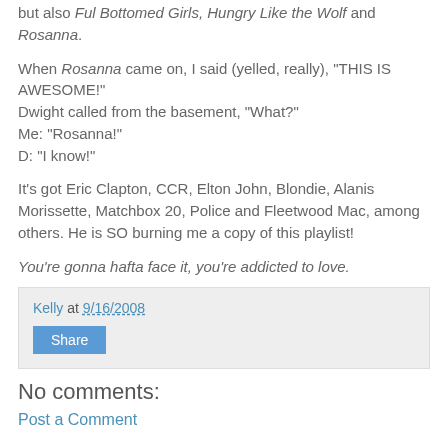but also Ful Bottomed Girls, Hungry Like the Wolf and Rosanna.
When Rosanna came on, I said (yelled, really), "THIS IS AWESOME!"
Dwight called from the basement, "What?"
Me: "Rosanna!"
D: "I know!"
It's got Eric Clapton, CCR, Elton John, Blondie, Alanis Morissette, Matchbox 20, Police and Fleetwood Mac, among others. He is SO burning me a copy of this playlist!
You're gonna hafta face it, you're addicted to love.
Kelly at 9/16/2008
Share
No comments:
Post a Comment